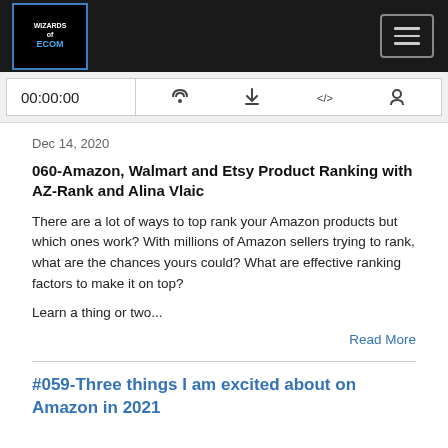[Figure (screenshot): Podcast website header with dark background, logo for Wizards of Ecom on the left and hamburger menu button on the right]
[Figure (screenshot): Audio player bar showing timestamp 00:00:00 and icons for RSS feed, download, embed code, and user/cookie]
Dec 14, 2020
060-Amazon, Walmart and Etsy Product Ranking with AZ-Rank and Alina Vlaic
There are a lot of ways to top rank your Amazon products but which ones work? With millions of Amazon sellers trying to rank, what are the chances yours could? What are effective ranking factors to make it on top?
Learn a thing or two...
Read More
#059-Three things I am excited about on Amazon in 2021